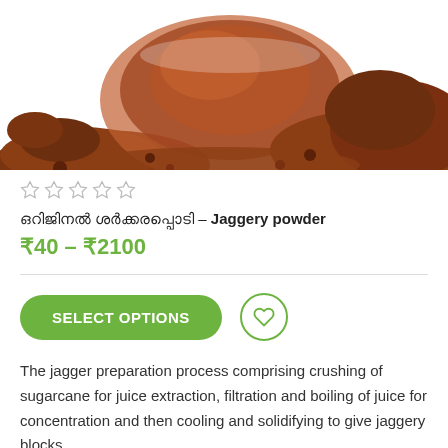[Figure (photo): Product image showing jaggery powder in a glass bowl with loose jaggery powder spread around it on a white background]
☆☆☆☆☆
ഒറിജിനൽ ശർക്കരപ്പൊടി – Jaggery powder
₹40 – ₹2100
SELECT OPTIONS
The jagger preparation process comprising crushing of sugarcane for juice extraction, filtration and boiling of juice for concentration and then cooling and solidifying to give jaggery blocks